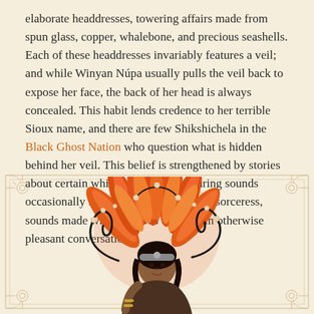elaborate headdresses, towering affairs made from spun glass, copper, whalebone, and precious seashells. Each of these headdresses invariably features a veil; and while Winyan Núpa usually pulls the veil back to expose her face, the back of her head is always concealed. This habit lends credence to her terrible Sioux name, and there are few Shikshichela in the Black Ghost Nation who question what is hidden behind her veil. This belief is strengthened by stories about certain whispering and murmuring sounds occasionally heard emanating from the sorceress, sounds made while she was engaged in otherwise pleasant conversation...
[Figure (illustration): Illustration of a Native American sorceress figure wearing an elaborate orange and red feathered headdress with black curling tendrils and small round ornaments. She has dark hair and is shown from the waist up, surrounded by an ornate decorative frame with corner flourishes.]